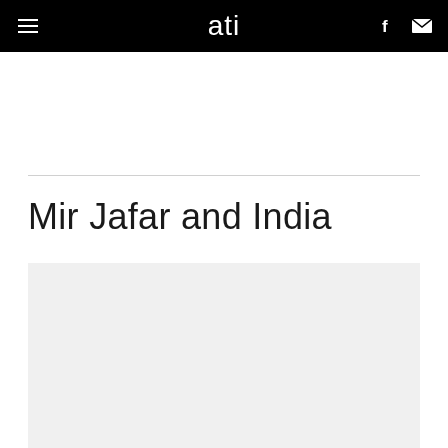ati
Mir Jafar and India
[Figure (other): Light gray image placeholder rectangle below the article title]